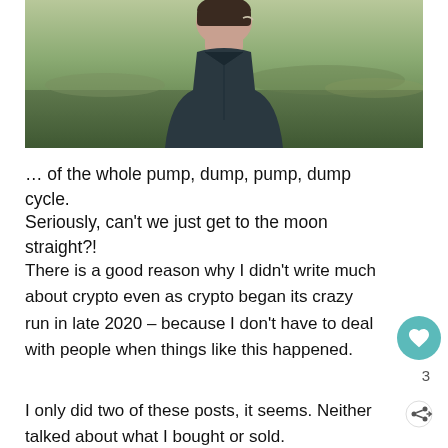[Figure (photo): A man seen from the back, wearing a dark denim shirt, with short dark hair and glasses visible on the side of his head, against a blurred outdoor/field background.]
… of the whole pump, dump, pump, dump cycle.
Seriously, can't we just get to the moon straight?!
There is a good reason why I didn't write much about crypto even as crypto began its crazy run in late 2020 – because I don't have to deal with people when things like this happened.
I only did two of these posts, it seems. Neither talked about what I bought or sold.